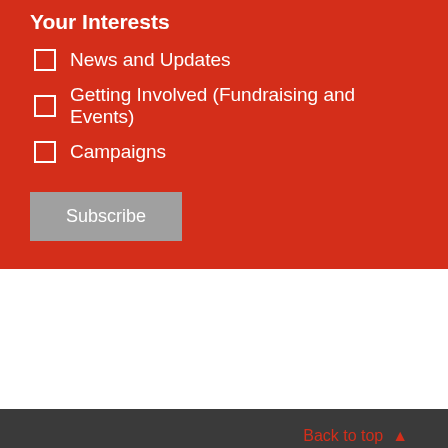Your Interests
News and Updates
Getting Involved (Fundraising and Events)
Campaigns
Subscribe
Back to top ▲
Stay informed about all latest news and developments:
[Figure (illustration): Social media icons: Facebook, Twitter, YouTube, Instagram]